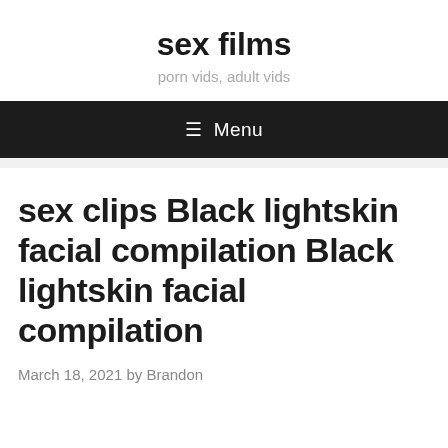sex films
porn vids, adult vids
≡ Menu
sex clips Black lightskin facial compilation Black lightskin facial compilation
March 18, 2021 by Brandon